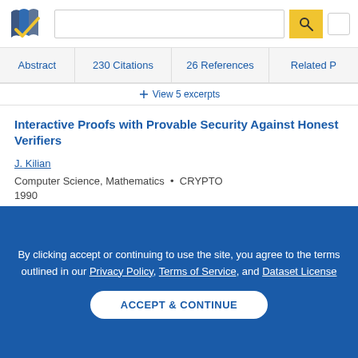[Figure (logo): Semantic Scholar logo - stylized book/document with checkmark]
Abstract | 230 Citations | 26 References | Related P...
— View 5 excerpts
Interactive Proofs with Provable Security Against Honest Verifiers
J. Kilian
Computer Science, Mathematics · CRYPTO
1990
TLDR: This work considers a form of "no use" zero
By clicking accept or continuing to use the site, you agree to the terms outlined in our Privacy Policy, Terms of Service, and Dataset License
ACCEPT & CONTINUE